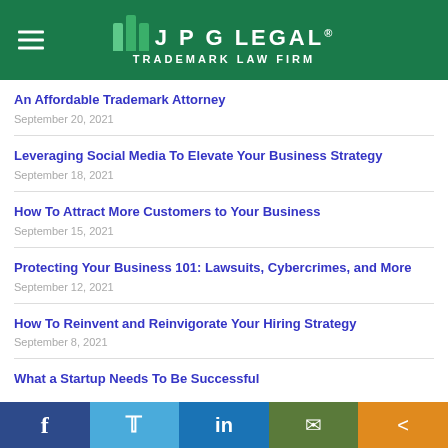JPG LEGAL® TRADEMARK LAW FIRM
An Affordable Trademark Attorney
September 20, 2021
Leveraging Social Media To Elevate Your Business Strategy
September 18, 2021
How To Attract More Customers to Your Business
September 15, 2021
Protecting Your Business 101: Lawsuits, Cybercrimes, and More
September 12, 2021
How To Reinvent and Reinvigorate Your Hiring Strategy
September 8, 2021
What a Startup Needs To Be Successful
f  Twitter  in  Email  Share